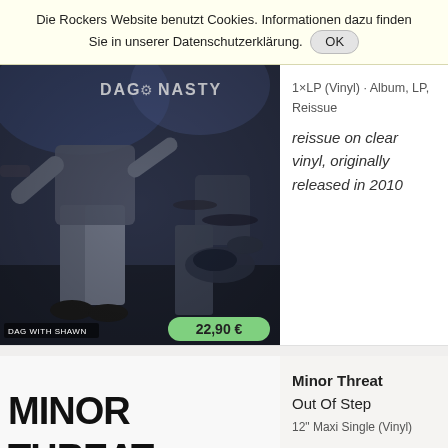Die Rockers Website benutzt Cookies. Informationen dazu finden Sie in unserer Datenschutzerklärung. OK
[Figure (photo): Concert photo of Dag Nasty band performing live, dark blue-toned image. Text overlay: DAG NASTY. Caption: DAG WITH SHAWN. Price badge: 22,90 €]
1×LP (Vinyl) · Album, LP, Reissue
reissue on clear vinyl, originally released in 2010
Minor Threat
Out Of Step
12" Maxi Single (Vinyl)
Neuauflage
[Figure (photo): Minor Threat album cover showing black text MINOR THREAT on white background with sheep herd image]